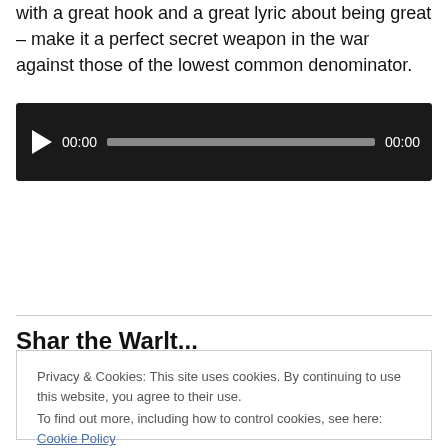with a great hook and a great lyric about being great – make it a perfect secret weapon in the war against those of the lowest common denominator.
[Figure (other): Audio player widget with play button, timestamp 00:00, progress bar, and end timestamp 00:00 on a dark background.]
Shar the Warlt...
Privacy & Cookies: This site uses cookies. By continuing to use this website, you agree to their use.
To find out more, including how to control cookies, see here: Cookie Policy
Close and accept